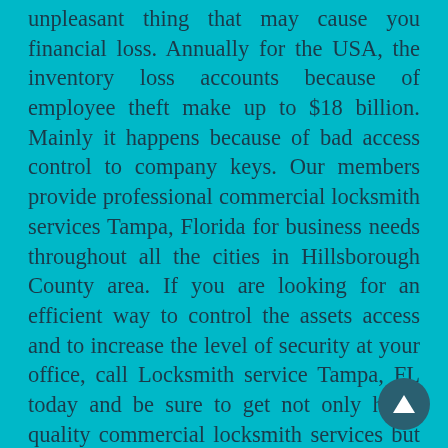unpleasant thing that may cause you financial loss. Annually for the USA, the inventory loss accounts because of employee theft make up to $18 billion. Mainly it happens because of bad access control to company keys. Our members provide professional commercial locksmith services Tampa, Florida for business needs throughout all the cities in Hillsborough County area. If you are looking for an efficient way to control the assets access and to increase the level of security at your office, call Locksmith service Tampa, FL today and be sure to get not only high-quality commercial locksmith services but also professional advice on which type of security system will serve you best.
Lock changing is a quick procedure that takes only a couple of minutes. The timing depends on the type of existing locks, the door itself